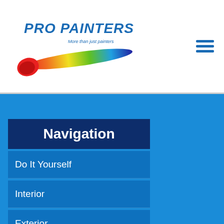[Figure (logo): Pro Painters, Ltd. logo with colorful brush stroke and tagline 'More than just painters']
[Figure (other): Hamburger menu icon (three horizontal lines) in blue]
Navigation
Do It Yourself
Interior
Exterior
Problem Slover